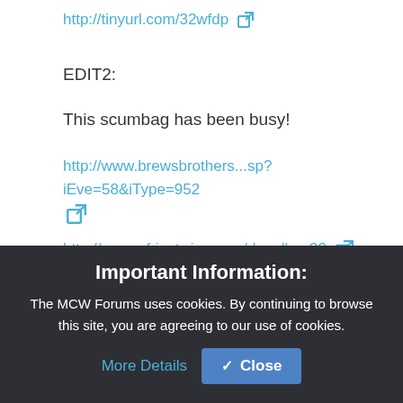http://tinyurl.com/32wfdp [external link]
EDIT2:
This scumbag has been busy!
http://www.brewsbrothers...sp?iEve=58&iType=952 [external link]
http://www.africatwin.co.za/dugallery33 [external link]
Important Information:
The MCW Forums uses cookies. By continuing to browse this site, you are agreeing to our use of cookies.
More Details
✓ Close